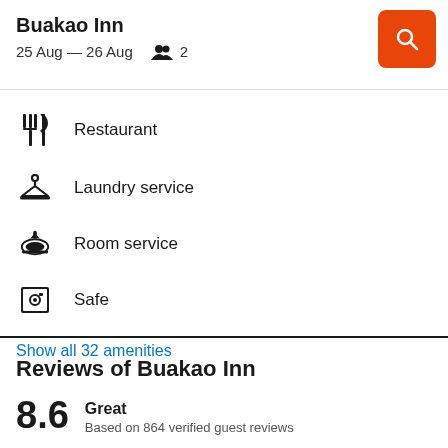Buakao Inn
25 Aug — 26 Aug   2
Restaurant
Laundry service
Room service
Safe
Show all 32 amenities
Reviews of Buakao Inn
8.6  Great  Based on 864 verified guest reviews